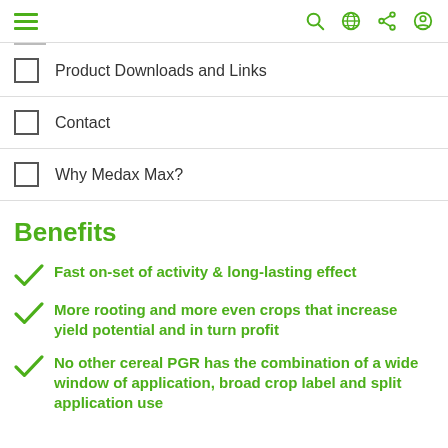Navigation bar with hamburger menu and icons
Product Downloads and Links
Contact
Why Medax Max?
Benefits
Fast on-set of activity & long-lasting effect
More rooting and more even crops that increase yield potential and in turn profit
No other cereal PGR has the combination of a wide window of application, broad crop label and split application use